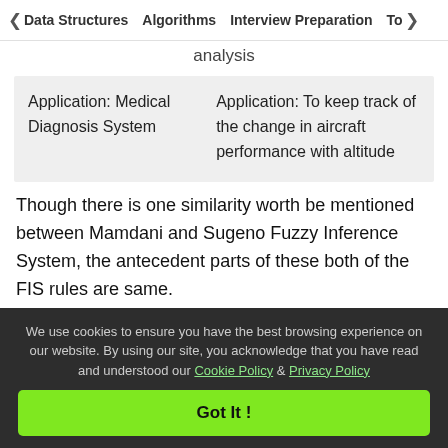< Data Structures   Algorithms   Interview Preparation   To>
analysis
| Application: Medical Diagnosis System | Application: To keep track of the change in aircraft performance with altitude |
Though there is one similarity worth be mentioned between Mamdani and Sugeno Fuzzy Inference System, the antecedent parts of these both of the FIS rules are same.
We use cookies to ensure you have the best browsing experience on our website. By using our site, you acknowledge that you have read and understood our Cookie Policy & Privacy Policy
Got It !